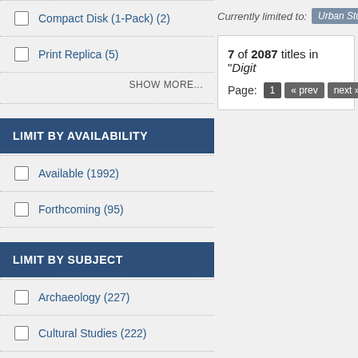Compact Disk (1-Pack) (2)
Print Replica (5)
SHOW MORE...
LIMIT BY AVAILABILITY
Available (1992)
Forthcoming (95)
LIMIT BY SUBJECT
Archaeology (227)
Cultural Studies (222)
Currently limited to: Urban Studi...
7 of 2087 titles in "Digit...
Page: 1 « prev next »